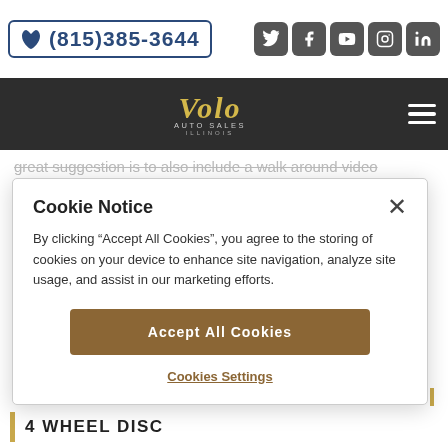(815)385-3644
[Figure (logo): Volo Auto Sales Illinois logo with gold cursive script and shield emblem on dark nav bar]
great suggestion is to also include a walk around video that explains the car's condition in detail. Don't be intimidated, contact sales now for a no pressure, no hassle experience!
Cookie Notice
By clicking "Accept All Cookies", you agree to the storing of cookies on your device to enhance site navigation, analyze site usage, and assist in our marketing efforts.
Accept All Cookies
Cookies Settings
4 WHEEL DISC